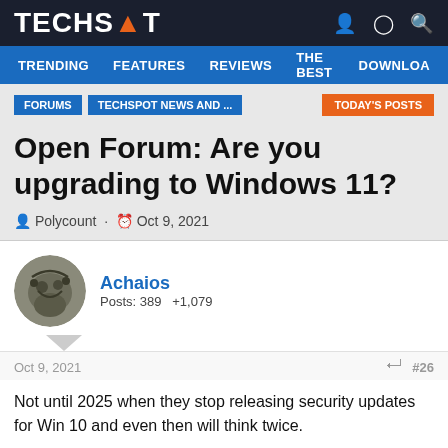TECHSPOT
TRENDING  FEATURES  REVIEWS  THE BEST  DOWNLOA
FORUMS  TECHSPOT NEWS AND ...  TODAY'S POSTS
Open Forum: Are you upgrading to Windows 11?
Polycount · Oct 9, 2021
Achaios
Posts: 389  +1,079
Oct 9, 2021  #26
Not until 2025 when they stop releasing security updates for Win 10 and even then will think twice.